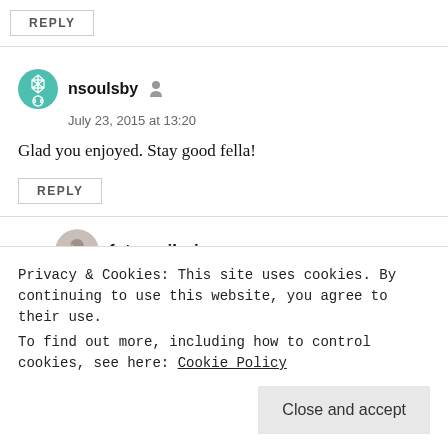REPLY
nsoulsby
July 23, 2015 at 13:20
Glad you enjoyed. Stay good fella!
REPLY
futurepilgrim
Privacy & Cookies: This site uses cookies. By continuing to use this website, you agree to their use.
To find out more, including how to control cookies, see here: Cookie Policy
Close and accept
guilt/